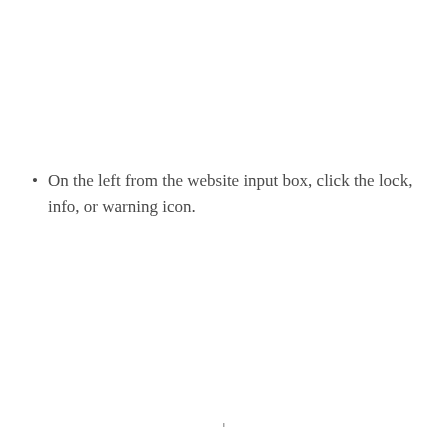On the left from the website input box, click the lock, info, or warning icon.
ꞌ